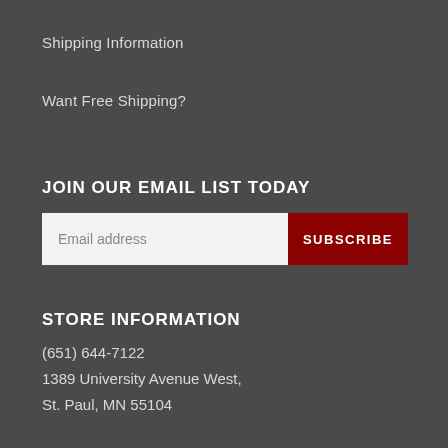Shipping Information
Want Free Shipping?
JOIN OUR EMAIL LIST TODAY
[Figure (other): Email subscription form with text input field labeled 'Email address' and a dark red SUBSCRIBE button]
STORE INFORMATION
(651) 644-7122
1389 University Avenue West,
St. Paul, MN 55104